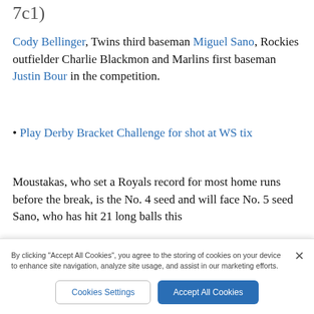7c1)
Cody Bellinger, Twins third baseman Miguel Sano, Rockies outfielder Charlie Blackmon and Marlins first baseman Justin Bour in the competition.
• Play Derby Bracket Challenge for shot at WS tix
Moustakas, who set a Royals record for most home runs before the break, is the No. 4 seed and will face No. 5 seed Sano, who has hit 21 long balls this
By clicking "Accept All Cookies", you agree to the storing of cookies on your device to enhance site navigation, analyze site usage, and assist in our marketing efforts.
Cookies Settings   Accept All Cookies